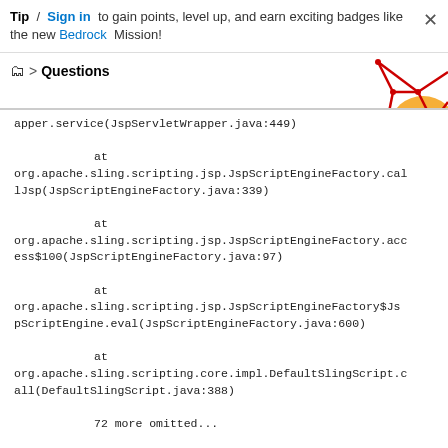Tip / Sign in to gain points, level up, and earn exciting badges like the new Bedrock Mission!
Questions
[Figure (illustration): Decorative geometric graphic with red lines and orange shape in top right corner]
apper.service(JspServletWrapper.java:449)

        at
org.apache.sling.scripting.jsp.JspScriptEngineFactory.callJsp(JspScriptEngineFactory.java:339)

        at
org.apache.sling.scripting.jsp.JspScriptEngineFactory.access$100(JspScriptEngineFactory.java:97)

        at
org.apache.sling.scripting.jsp.JspScriptEngineFactory$JspScriptEngine.eval(JspScriptEngineFactory.java:600)

        at
org.apache.sling.scripting.core.impl.DefaultSlingScript.call(DefaultSlingScript.java:388)

        72 more omitted...